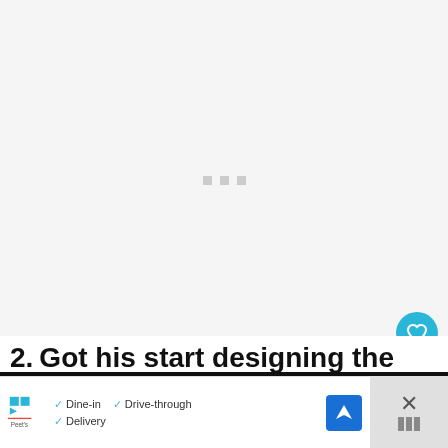[Figure (other): Large empty loading placeholder area with three small gray square dots centered, indicating content is loading]
[Figure (other): Cyan circular FAB button with heart icon]
[Figure (other): White circular FAB button with share/add icon]
2. Got his start designing the
[Figure (other): Advertisement banner for Peet's Coffee showing Dine-in, Drive-through, Delivery options with a blue navigation arrow icon and a close button]